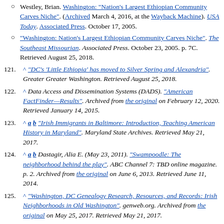Westley, Brian. Washington: "Nation's Largest Ethiopian Community Carves Niche". (Archived March 4, 2016, at the Wayback Machine). USA Today. Associated Press. October 17, 2005.
"Washington: Nation's Largest Ethiopian Community Carves Niche". The Southeast Missourian. Associated Press. October 23, 2005. p. 7C. Retrieved August 25, 2018.
121. ^ "DC's 'Little Ethiopia' has moved to Silver Spring and Alexandria". Greater Greater Washington. Retrieved August 25, 2018.
122. ^ Data Access and Dissemination Systems (DADS). "American FactFinder—Results". Archived from the original on February 12, 2020. Retrieved January 14, 2015.
123. ^ a b "Irish Immigrants in Baltimore: Introduction, Teaching American History in Maryland". Maryland State Archives. Retrieved May 21, 2017.
124. ^ a b Dastagir, Alia E. (May 23, 2011). "Swampoodle: The neighborhood behind the play". ABC Channel 7: TBD online magazine. p. 2. Archived from the original on June 6, 2013. Retrieved June 11, 2014.
125. ^ "Washington, DC Genealogy Research, Resources, and Records: Irish Neighborhoods in Old Washington". genweb.org. Archived from the original on May 25, 2017. Retrieved May 21, 2017.